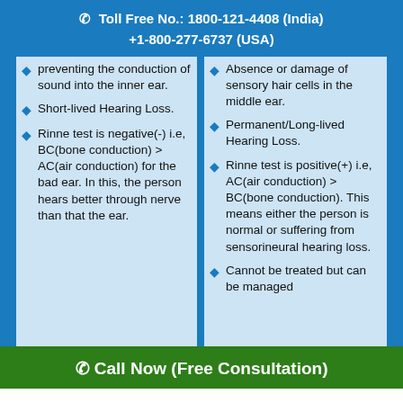Toll Free No.: 1800-121-4408 (India)
+1-800-277-6737 (USA)
preventing the conduction of sound into the inner ear.
Short-lived Hearing Loss.
Rinne test is negative(-) i.e, BC(bone conduction) > AC(air conduction) for the bad ear. In this, the person hears better through nerve than that the ear.
Absence or damage of sensory hair cells in the middle ear.
Permanent/Long-lived Hearing Loss.
Rinne test is positive(+) i.e, AC(air conduction) > BC(bone conduction). This means either the person is normal or suffering from sensorineural hearing loss.
Cannot be treated but can be managed
Call Now (Free Consultation)